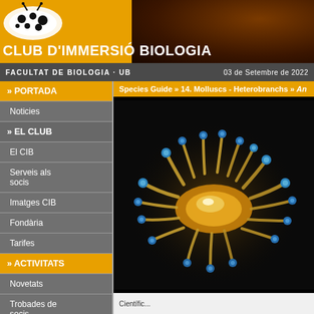CLUB D'IMMERSIÓ BIOLOGIA
FACULTAT DE BIOLOGIA · UB   03 de Setembre de 2022
» PORTADA
Noticies
» EL CLUB
El CIB
Serveis als socis
Imatges CIB
Fondària
Tarifes
» ACTIVITATS
Novetats
Trobades de socis
Cursos
Tallers CIB
Species Guide » 14. Molluscs - Heterobranchs » An...
[Figure (photo): Underwater photograph of a nudibranch (sea slug) with golden/yellow body and numerous blue-tipped cerata appendages against a dark background]